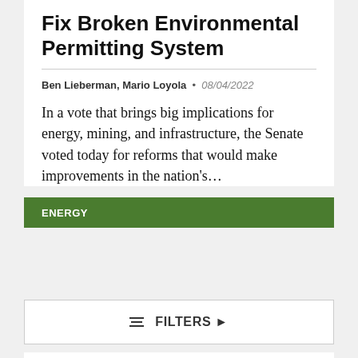Fix Broken Environmental Permitting System
Ben Lieberman, Mario Loyola • 08/04/2022
In a vote that brings big implications for energy, mining, and infrastructure, the Senate voted today for reforms that would make improvements in the nation's...
ENERGY
FILTERS ▶
News Release